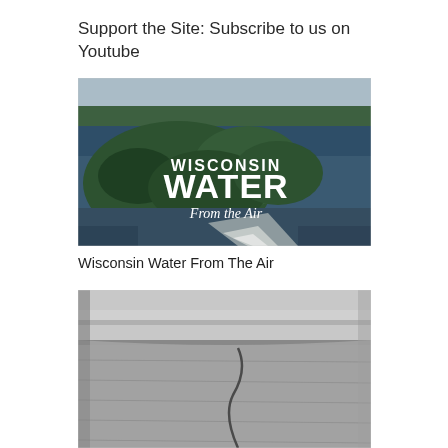Support the Site: Subscribe to us on Youtube
[Figure (photo): Aerial photo of a lake with a forested island, with text overlay reading 'WISCONSIN WATER From the Air' in white bold font]
Wisconsin Water From The Air
[Figure (photo): Black and white aerial photo of a large concrete dam structure viewed from above]